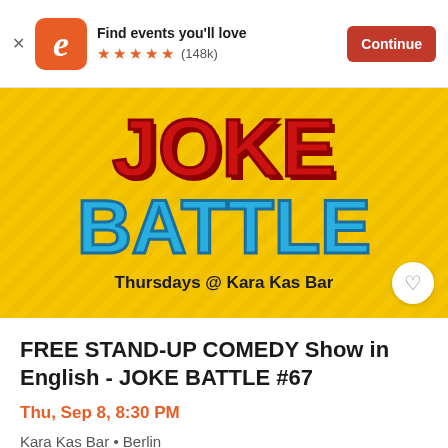Find events you'll love  (148k)  Continue
[Figure (photo): Event banner for JOKE BATTLE comedy show on yellow background with diagonal stripe texture. 'JOKE' in large red 3D letters, 'BATTLE' in large blue 3D letters, subtitle 'Thursdays @ Kara Kas Bar' in dark bold text.]
FREE STAND-UP COMEDY Show in English - JOKE BATTLE #67
Thu, Sep 8, 8:30 PM
Kara Kas Bar • Berlin
Free